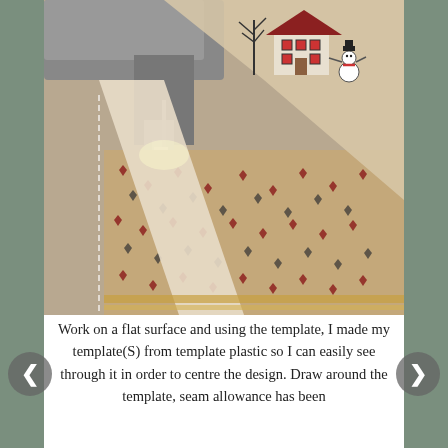[Figure (photo): Close-up photo of a sewing machine needle stitching quilt fabric pieces together. The fabric features a pattern with small hearts in red and black/dark grey on a beige background. In the upper right corner of the quilt block, there is an embroidered or printed scene of a house with a snowman and a bare tree, with a red barn-like roof.]
Work on a flat surface and using the template, I made my template(S) from template plastic so I can easily see through it in order to centre the design. Draw around the template, seam allowance has been